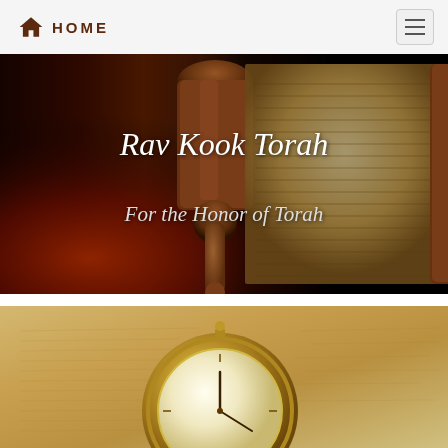HOME
Rav Kook Torah
For the Honor of Torah
[Figure (photo): A Torah scroll open on a wooden roller, photographed against a dark background with warm orange-red lighting gradient from the bottom-left]
[Figure (photo): A brass pocket watch lying on aged parchment or sandy stone surface with textured writing visible underneath]